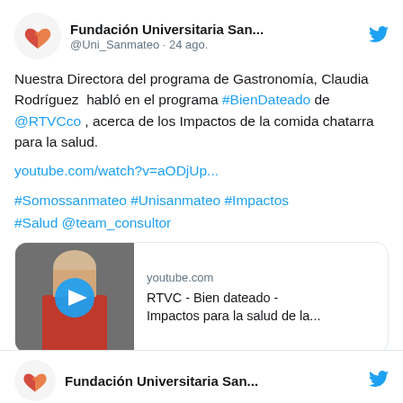[Figure (screenshot): Twitter/X post from Fundación Universitaria San... (@Uni_Sanmateo) dated 24 ago. with tweet text, hashtags, YouTube link, and media card showing RTVC video thumbnail]
Nuestra Directora del programa de Gastronomía, Claudia Rodríguez  habló en el programa #BienDateado de @RTVCco , acerca de los Impactos de la comida chatarra para la salud.
youtube.com/watch?v=aODjUp...
#Somossanmateo #Unisanmateo #Impactos #Salud @team_consultor
youtube.com
RTVC - Bien dateado - Impactos para la salud de la...